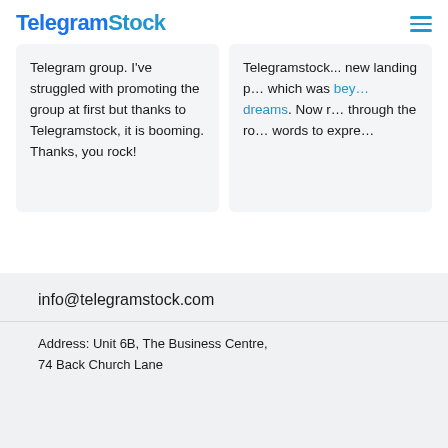TelegramStock
Telegram group. I've struggled with promoting the group at first but thanks to Telegramstock, it is booming. Thanks, you rock!
Telegramstock... new landing pa... which was beyond dreams. Now r... through the ro... words to expre...
info@telegramstock.com
Address: Unit 6B, The Business Centre, 74 Back Church Lane